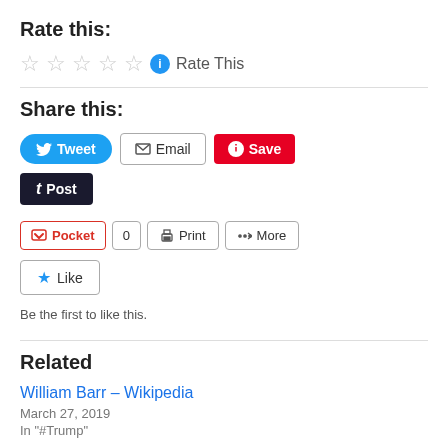Rate this:
Rate This
Share this:
[Figure (screenshot): Social sharing buttons: Tweet, Email, Save (Pinterest), Post (Tumblr), Pocket with count 0, Print, More]
[Figure (other): Like button with star icon]
Be the first to like this.
Related
William Barr – Wikipedia
March 27, 2019
In "#Trump"